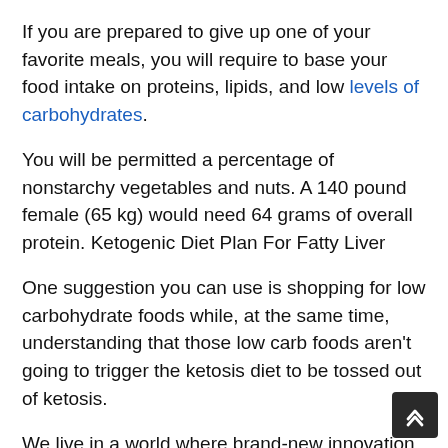If you are prepared to give up one of your favorite meals, you will require to base your food intake on proteins, lipids, and low levels of carbohydrates.
You will be permitted a percentage of nonstarchy vegetables and nuts. A 140 pound female (65 kg) would need 64 grams of overall protein. Ketogenic Diet Plan For Fatty Liver
One suggestion you can use is shopping for low carbohydrate foods while, at the same time, understanding that those low carb foods aren’t going to trigger the ketosis diet to be tossed out of ketosis.
We live in a world where brand-new innovation and web makes it easier to share and communicate all the time. It also ends up being